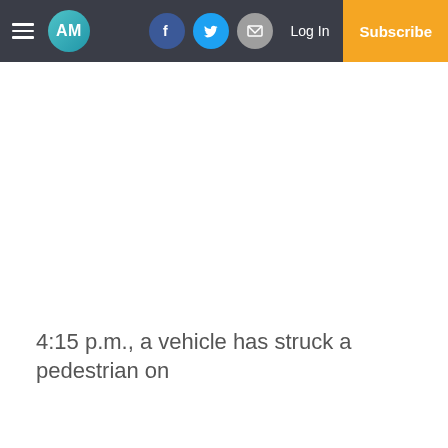AM | Log In | Subscribe
4:15 p.m., a vehicle has struck a pedestrian on